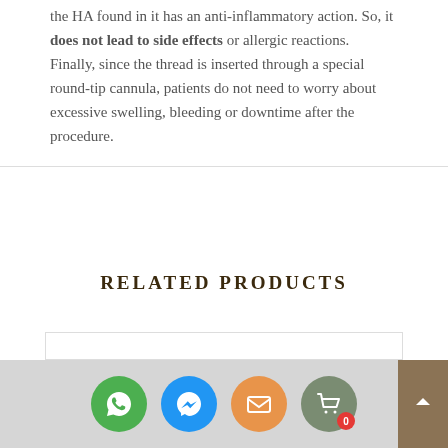the HA found in it has an anti-inflammatory action. So, it does not lead to side effects or allergic reactions. Finally, since the thread is inserted through a special round-tip cannula, patients do not need to worry about excessive swelling, bleeding or downtime after the procedure.
RELATED PRODUCTS
[Figure (other): Empty product card box with border]
[Figure (other): Bottom navigation bar with WhatsApp, Messenger, Email, and Cart icons. Cart shows badge with 0.]